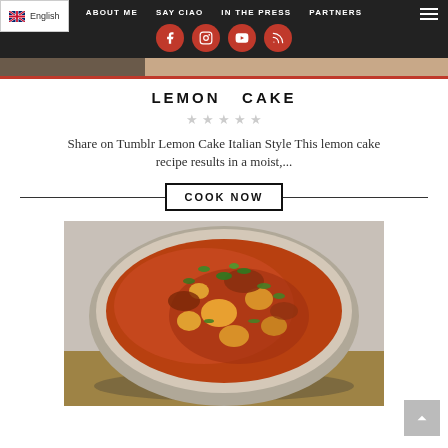English | ABOUT ME | SAY CIAO | IN THE PRESS | PARTNERS
[Figure (screenshot): Partial top image strip showing food photography]
LEMON CAKE
Share on Tumblr Lemon Cake Italian Style This lemon cake recipe results in a moist,...
COOK NOW
[Figure (photo): A bowl of tomato-based curry stew with chunks of potato/meat and garnished with fresh green herbs, served in a grey ceramic bowl on a wooden board]